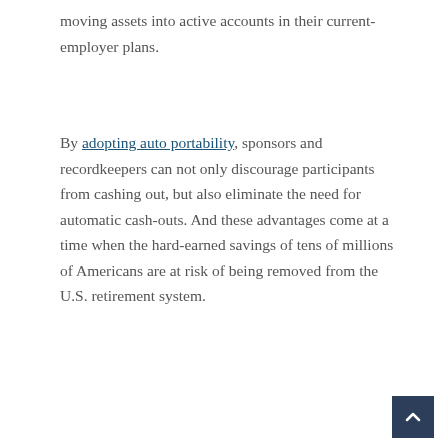moving assets into active accounts in their current-employer plans.
By adopting auto portability, sponsors and recordkeepers can not only discourage participants from cashing out, but also eliminate the need for automatic cash-outs. And these advantages come at a time when the hard-earned savings of tens of millions of Americans are at risk of being removed from the U.S. retirement system.
Before the COVID-19 pandemic, EBRI estimated that if all plan participants had access to auto portability, up to $1.5 trillion in savings, measured in today's dollars, would be preserved in our country's retirement system over a 40-year period. Now more